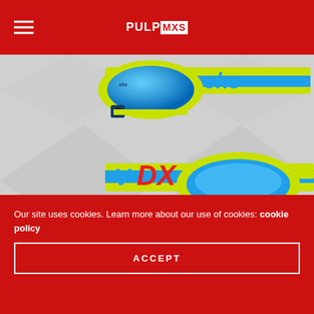PULPMXS
[Figure (photo): EKS Brand motocross goggles advertisement showing two yellow and blue goggles with blue mirrored lenses, with 'eks' branding on the strap, 'VDX' text with red X, and 'eksbrand.com' at the bottom on a grey/silver background]
Our site uses cookies. Learn more about our use of cookies: cookie policy
ACCEPT